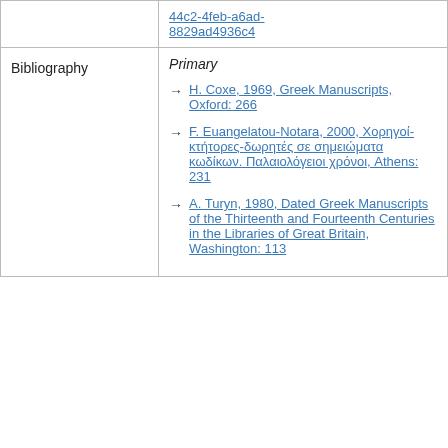44c2-4feb-a6ad-8829ad4936c4
| Bibliography | Primary / references |
| --- | --- |
| Bibliography | Primary
→ H. Coxe, 1969, Greek Manuscripts, Oxford: 266
→ F. Euangelatou-Notara, 2000, Χορηγοί-κτήτορες-δωρητές σε σημειώματα κωδίκων. Παλαιολόγειοι χρόνοι, Athens: 231
→ A. Turyn, 1980, Dated Greek Manuscripts of the Thirteenth and Fourteenth Centuries in the Libraries of Great Britain, Washington: 113 |